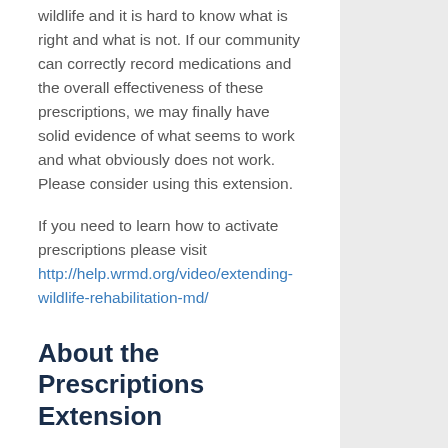wildlife and it is hard to know what is right and what is not. If our community can correctly record medications and the overall effectiveness of these prescriptions, we may finally have solid evidence of what seems to work and what obviously does not work. Please consider using this extension.
If you need to learn how to activate prescriptions please visit http://help.wrmd.org/video/extending-wildlife-rehabilitation-md/
About the Prescriptions Extension
S...